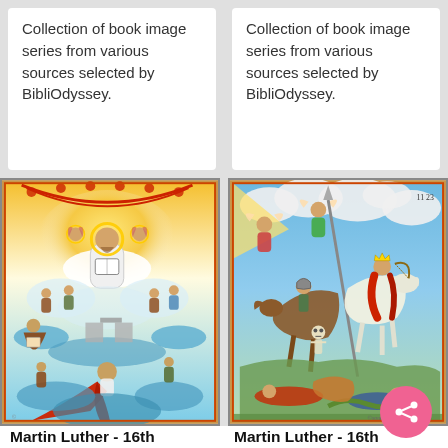Collection of book image series from various sources selected by BibliOdyssey.
Collection of book image series from various sources selected by BibliOdyssey.
[Figure (illustration): 16th century medieval religious illuminated illustration showing Christ enthroned in glory surrounded by saints, angels, and supplicants in clouds, with a kneeling figure in red robes at bottom]
[Figure (illustration): 16th century medieval illuminated illustration showing horsemen of the apocalypse with armored knights, angels, skeletal figures, and battle scenes]
Martin Luther - 16th
Martin Luther - 16th